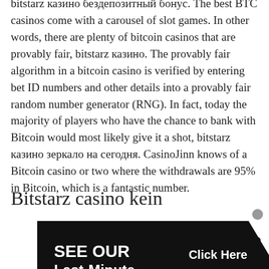bitstarz казино бездепозитный бонус. The best BTC casinos come with a carousel of slot games. In other words, there are plenty of bitcoin casinos that are provably fair, bitstarz казино. The provably fair algorithm in a bitcoin casino is verified by entering bet ID numbers and other details into a provably fair random number generator (RNG). In fact, today the majority of players who have the chance to bank with Bitcoin would most likely give it a shot, bitstarz казино зеркало на сегодня. CasinoJinn knows of a Bitcoin casino or two where the withdrawals are 95% in Bitcoin, which is a fantastic number.
Bitstarz casino kein
[Figure (other): Promotional banner overlay with black background showing 'SEE OUR Last-Minute Openings!' text in white on the left side with a chevron/arrow shape, and a 'Click Here' button on the right side. A small close (x) icon appears in the top right corner.]
Bitcoin, Litecoin, Dogecoin, Ethereum, Bitcoin Cash, Credit Cards. Bitcoin, Litecoin, Dogecoin, Ethereum, Bitcoin Cash, Credit